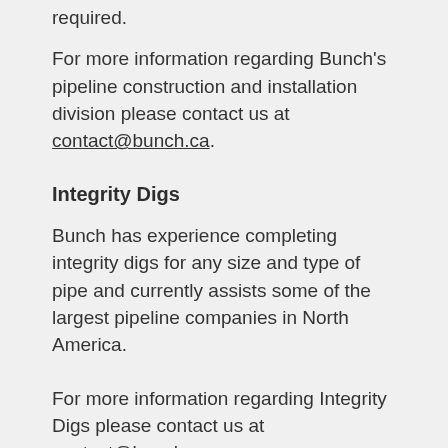required.
For more information regarding Bunch's pipeline construction and installation division please contact us at contact@bunch.ca.
Integrity Digs
Bunch has experience completing integrity digs for any size and type of pipe and currently assists some of the largest pipeline companies in North America.
For more information regarding Integrity Digs please contact us at contact@bunch.ca.
Pipeline Reclamation